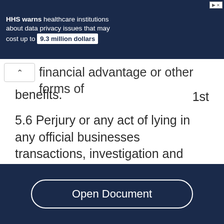[Figure (screenshot): HHS data privacy warning advertisement banner with IBM Power10 promotion]
financial advantage or other forms of benefits. 1st
5.6 Perjury or any act of lying in any official businesses transactions, investigation and inquiry 1st
5.7 Any form of slander, defamation or libel 1st
5.8 Unbecoming conduct violating common
Open Document